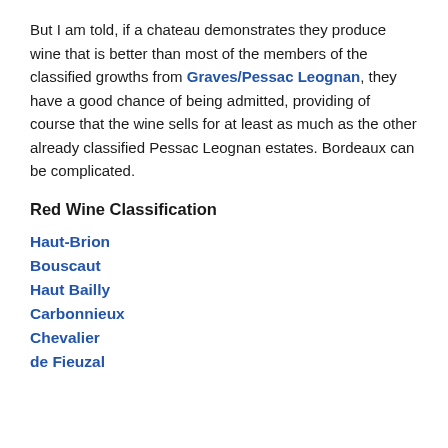But I am told, if a chateau demonstrates they produce wine that is better than most of the members of the classified growths from Graves/Pessac Leognan, they have a good chance of being admitted, providing of course that the wine sells for at least as much as the other already classified Pessac Leognan estates. Bordeaux can be complicated.
Red Wine Classification
Haut-Brion
Bouscaut
Haut Bailly
Carbonnieux
Chevalier
de Fieuzal